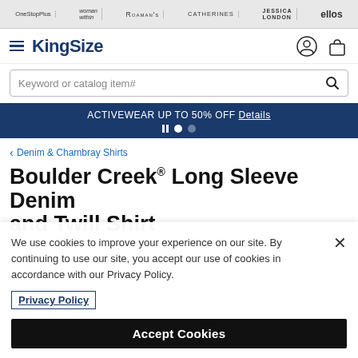OneStopPlus | woman within | ROAMAN'S | CATHERINES | JESSICA LONDON | ellos
[Figure (logo): KingSize brand logo with hamburger menu icon, user icon, and shopping bag icon]
Keyword or catalog item#
ACTIVEWEAR UP TO 50% OFF Details
< Denim & Chambray Shirts
Boulder Creek® Long Sleeve Denim and Twill Shirt
We use cookies to improve your experience on our site. By continuing to use our site, you accept our use of cookies in accordance with our Privacy Policy.
Privacy Policy
Accept Cookies